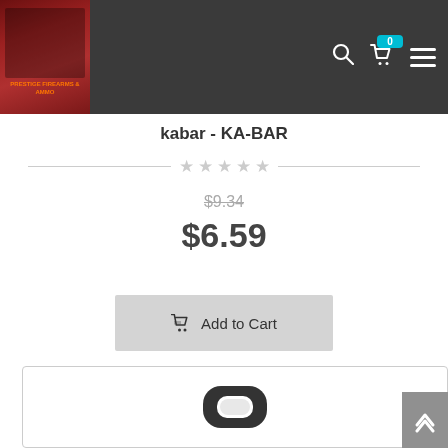kabar - KA-BAR store header with logo, search, cart (0 items), and menu
kabar - KA-BAR
Star rating: 0 out of 5 stars
$9.34 (original price, strikethrough)
$6.59
Add to Cart
[Figure (photo): Product image at bottom of page showing a black rubber ring/gasket eyelet component]